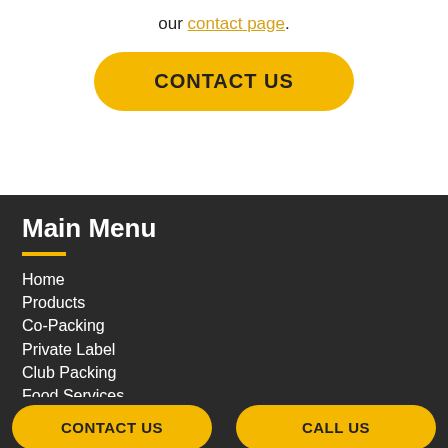our contact page.
CONTACT US
Main Menu
Home
Products
Co-Packing
Private Label
Club Packing
Food Services
Suppliers
About
Careers
CONTACT US
CALL US